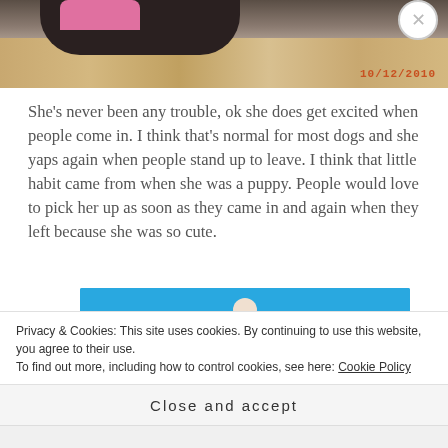[Figure (photo): Photo of a small dark dog wearing a pink hat/sweater, viewed from above, on a wooden floor. Timestamp '10/12/2010' visible in bottom right corner of photo.]
She's never been any trouble, ok she does get excited when people come in. I think that's normal for most dogs and she yaps again when people stand up to leave. I think that little habit came from when she was a puppy. People would love to pick her up as soon as they came in and again when they left because she was so cute.
[Figure (screenshot): Advertisement banner with blue background showing a person figure and a teal outlined button.]
Privacy & Cookies: This site uses cookies. By continuing to use this website, you agree to their use.
To find out more, including how to control cookies, see here: Cookie Policy
Close and accept